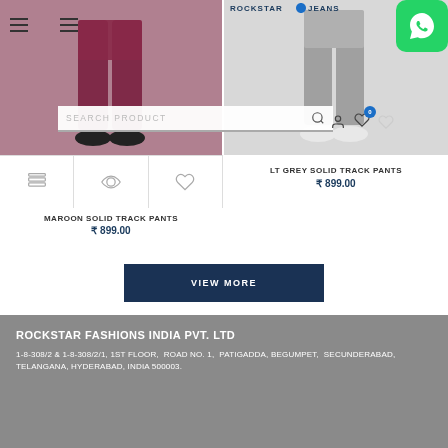[Figure (screenshot): E-commerce product listing page for Rockstar Jeans showing two track pants products with icons and navigation]
MAROON SOLID TRACK PANTS
₹ 899.00
LT GREY SOLID TRACK PANTS
₹ 899.00
VIEW MORE
ROCKSTAR FASHIONS INDIA PVT. LTD
1-8-308/2 & 1-8-308/2/1, 1ST FLOOR,  ROAD NO. 1,  PATIGADDA, BEGUMPET,  SECUNDERABAD, TELANGANA, HYDERABAD, INDIA 500003.